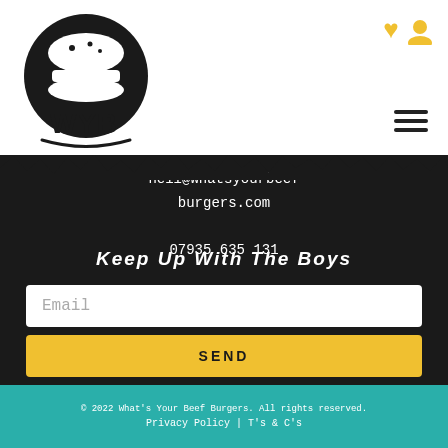[Figure (logo): WYB (What's Your Beef Burgers) circular logo with burger icon in black and white]
neil@whatsyourbeef burgers.com
07935 635 131
Keep up with the boys
Email
SEND
© 2022 What's Your Beef Burgers. All rights reserved.
Privacy Policy | T's & C's